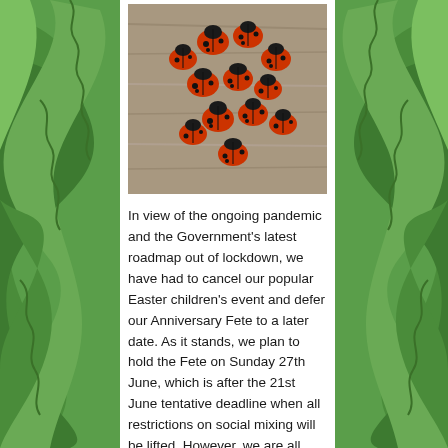[Figure (photo): Photograph of approximately 12 red ladybirds/ladybugs with black spots arranged on a grey wooden surface]
In view of the ongoing pandemic and the Government's latest roadmap out of lockdown, we have had to cancel our popular Easter children's event and defer our Anniversary Fete to a later date. As it stands, we plan to hold the Fete on Sunday 27th June, which is after the 21st June tentative deadline when all restrictions on social mixing will be lifted. However, we are all aware that the situation can change quickly, so please look out